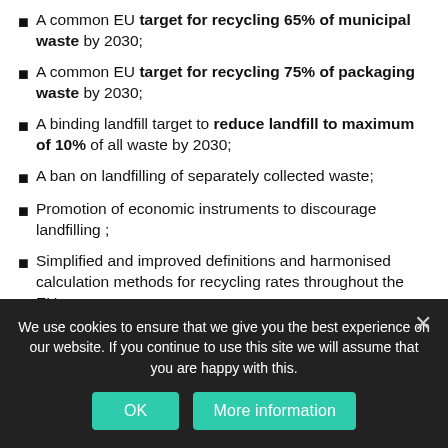A common EU target for recycling 65% of municipal waste by 2030;
A common EU target for recycling 75% of packaging waste by 2030;
A binding landfill target to reduce landfill to maximum of 10% of all waste by 2030;
A ban on landfilling of separately collected waste;
Promotion of economic instruments to discourage landfilling ;
Simplified and improved definitions and harmonised calculation methods for recycling rates throughout the EU;
Concrete measures to promote re-use and stimulate industrial symbiosis, turning one industry's by-product…
We use cookies to ensure that we give you the best experience on our website. If you continue to use this site we will assume that you are happy with this.